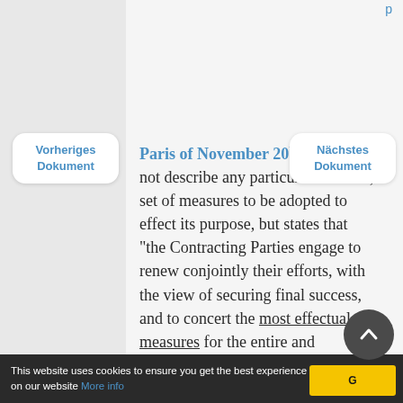Paris of November 20th 1815 does not describe any particular measure, set of measures to be adopted to effect its purpose, but states that “the Contracting Parties engage to renew conjointly their efforts, with the view of securing final success, and to concert the most effectual measures for the entire and definitive abolition of a Commerce so odious and so strongly condemned by the Laws of Religion and Nature”.

The following appear to be the
This website uses cookies to ensure you get the best experience on our website More info